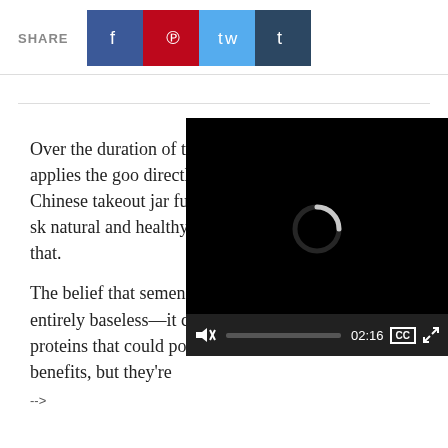SHARE [Facebook] [Pinterest] [Twitter] [Tumblr]
Over the duration of the nearly 20-minute video, Kiss applies the goo directly to her face from a small Chinese takeout jar full of "don massages it into her sk natural and healthy th unorthodox approach her that.
[Figure (screenshot): Embedded video player overlay showing a loading spinner (buffering indicator) and video controls bar with mute icon, timestamp 02:16, CC button, and fullscreen button. Video content is black/loading.]
The belief that semen can benefit the skin is not entirely baseless—it contains various enzymes and proteins that could potentially have skin care benefits, but they're
-->